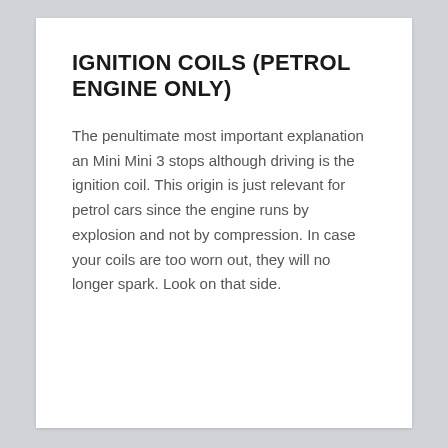IGNITION COILS (PETROL ENGINE ONLY)
The penultimate most important explanation an Mini Mini 3 stops although driving is the ignition coil. This origin is just relevant for petrol cars since the engine runs by explosion and not by compression. In case your coils are too worn out, they will no longer spark. Look on that side.